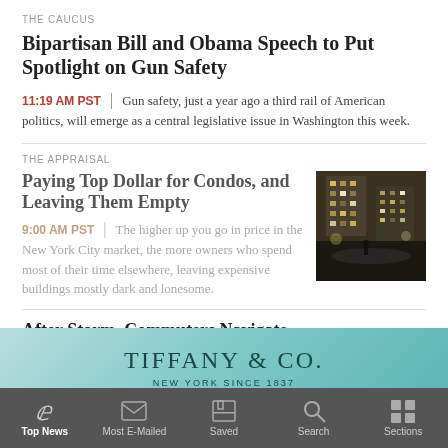THE CAUCUS
Bipartisan Bill and Obama Speech to Put Spotlight on Gun Safety
11:19 AM PST | Gun safety, just a year ago a third rail of American politics, will emerge as a central legislative issue in Washington this week.
THE APPRAISAL
Paying Top Dollar for Condos, and Leaving Them Empty
9:00 AM PST | The higher up you go in price in the New York City market, the more owners who spend most of their time elsewhere, leaving expensive buildings mostly dark and lonesome.
[Figure (photo): Nighttime photo of a building exterior]
After Storm, Commuters Navigate Slick, Slushy Roads
[Figure (illustration): Tiffany & Co. advertisement banner — teal background with text: TIFFANY & CO. NEW YORK SINCE 1837]
Top News | Most E-Mailed | Saved | Search | Sections